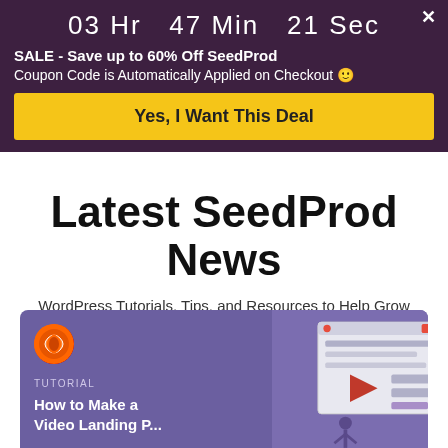03 Hr  47 Min  21 Sec
SALE - Save up to 60% Off SeedProd
Coupon Code is Automatically Applied on Checkout 🙂
Yes, I Want This Deal
Latest SeedProd News
WordPress Tutorials, Tips, and Resources to Help Grow Your Business
[Figure (illustration): Blog card with purple background, SeedProd logo, TUTORIAL label, article title 'How to Make a Video Landing Page', and an illustration of a person standing in front of a webpage mockup with a video play button]
TUTORIAL
How to Make a Video Landing P...